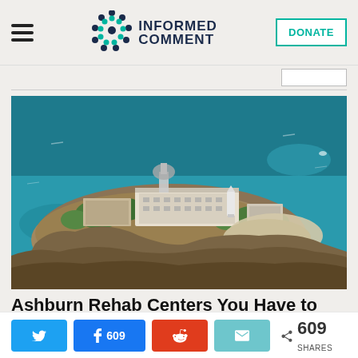INFORMED COMMENT
[Figure (photo): Aerial photograph of Alcatraz Island surrounded by blue-green water of San Francisco Bay, showing the prison buildings, lighthouse, and rocky terrain.]
Ashburn Rehab Centers You Have to See to Believe:
609 SHARES